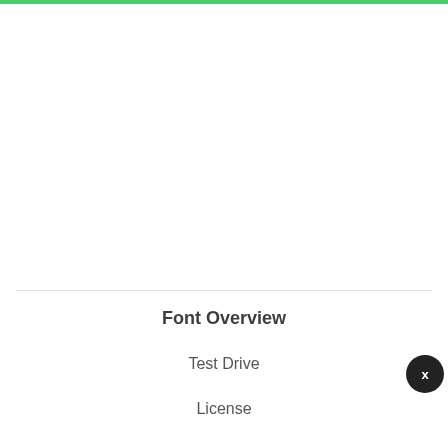Font Overview
Test Drive
License